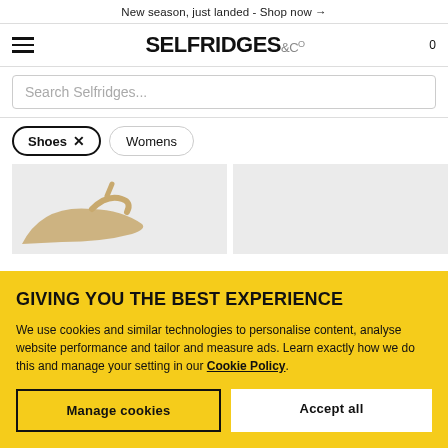New season, just landed - Shop now →
[Figure (logo): Selfridges & Co logo with hamburger menu and cart count 0]
Search Selfridges...
Shoes ×
Womens
[Figure (photo): Two product cards showing women's shoes on grey background, partially visible]
GIVING YOU THE BEST EXPERIENCE
We use cookies and similar technologies to personalise content, analyse website performance and tailor and measure ads. Learn exactly how we do this and manage your setting in our Cookie Policy.
Manage cookies
Accept all